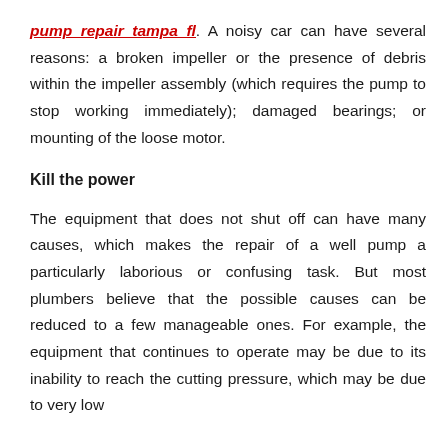pump repair tampa fl. A noisy car can have several reasons: a broken impeller or the presence of debris within the impeller assembly (which requires the pump to stop working immediately); damaged bearings; or mounting of the loose motor.
Kill the power
The equipment that does not shut off can have many causes, which makes the repair of a well pump a particularly laborious or confusing task. But most plumbers believe that the possible causes can be reduced to a few manageable ones. For example, the equipment that continues to operate may be due to its inability to reach the cutting pressure, which may be due to very low